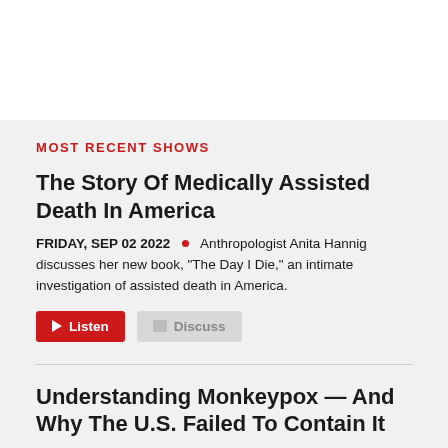MOST RECENT SHOWS
The Story Of Medically Assisted Death In America
FRIDAY, SEP 02 2022 • Anthropologist Anita Hannig discusses her new book, "The Day I Die," an intimate investigation of assisted death in America.
Listen  Discuss
Understanding Monkeypox — And Why The U.S. Failed To Contain It